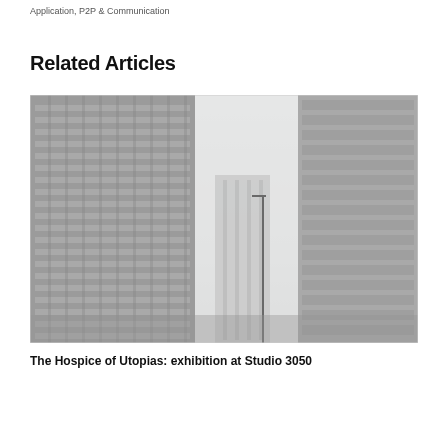Application, P2P & Communication
Related Articles
[Figure (photo): Black and white photograph of urban buildings/skyscrapers viewed from street level, showing tall office buildings with a hazy sky between them and a street lamp visible in the middle ground.]
The Hospice of Utopias: exhibition at Studio 3050